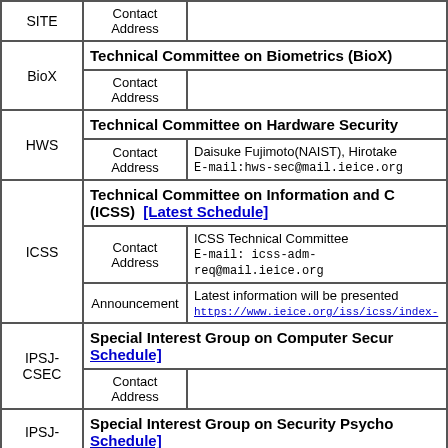| Abbr | Label | Content |
| --- | --- | --- |
| SITE | Contact Address |  |
| BioX | Technical Committee on Biometrics (BioX) |  |
| BioX | Contact Address |  |
| HWS | Technical Committee on Hardware Security (HWS) |  |
| HWS | Contact Address | Daisuke Fujimoto(NAIST), Hirotake...
E-mail:hws-sec@mail.ieice.org |
| ICSS | Technical Committee on Information and C... (ICSS) [Latest Schedule] |  |
| ICSS | Contact Address | ICSS Technical Committee
E-mail: icss-adm-req@mail.ieice.org |
| ICSS | Announcement | Latest information will be presented...
https://www.ieice.org/iss/icss/index-... |
| IPSJ-CSEC | Special Interest Group on Computer Secur... [Schedule] |  |
| IPSJ-CSEC | Contact Address |  |
| IPSJ- | Special Interest Group on Security Psycho... [Schedule] |  |